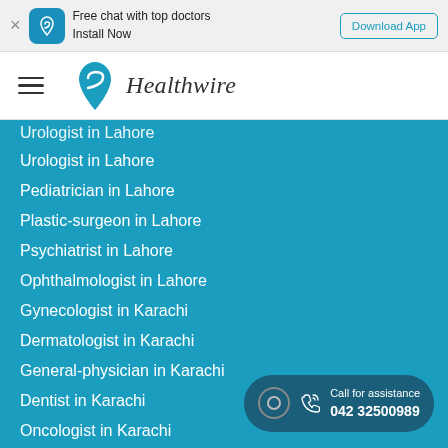Free chat with top doctors Install Now | Download App
[Figure (logo): Healthwire logo with teal heart/location pin icon and italic text 'Healthwire']
Urologist in Lahore
Pediatrician in Lahore
Plastic-surgeon in Lahore
Psychiatrist in Lahore
Ophthalmologist in Lahore
Gynecologist in Karachi
Dermatologist in Karachi
General-physician in Karachi
Dentist in Karachi
Oncologist in Karachi
Cardiologist in Karachi
ENT in Karachi
Pulmonologist in Karachi
Call for assistance 042 32500989